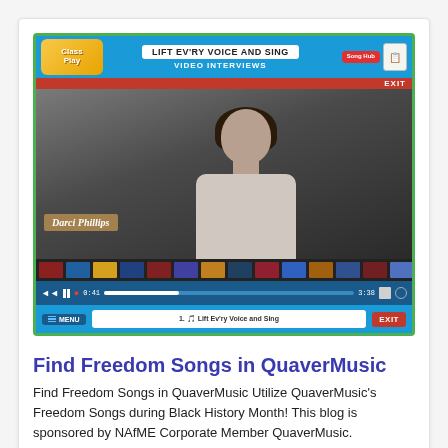[Figure (screenshot): Screenshot of a ClassPlay educational software interface showing a video interview titled 'Lift Ev'ry Voice and Sing'. A woman named Darci Phillips is shown in a video player. Controls show time 0:41 of 3:38. Bottom navigation shows 'Lift Ev'ry Voice and Sing' as the current song.]
Find Freedom Songs in QuaverMusic
Find Freedom Songs in QuaverMusic Utilize QuaverMusic’s Freedom Songs during Black History Month! This blog is sponsored by NAfME Corporate Member QuaverMusic. QuaverMusic is proud to provide a collection of…